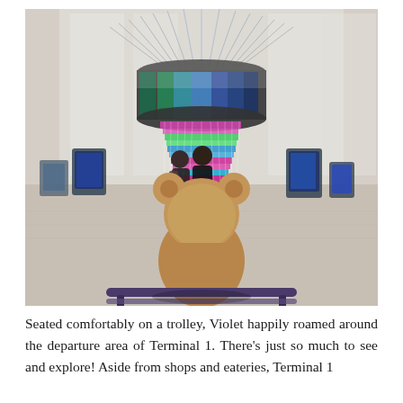[Figure (photo): A brown teddy bear seated on a luggage trolley, viewed from behind, looking at a large colorful cylindrical LED art installation in what appears to be the departure hall of an airport terminal. Several people stand nearby viewing the installation. The hall has high ceilings and marble floors.]
Seated comfortably on a trolley, Violet happily roamed around the departure area of Terminal 1. There's just so much to see and explore! Aside from shops and eateries, Terminal 1